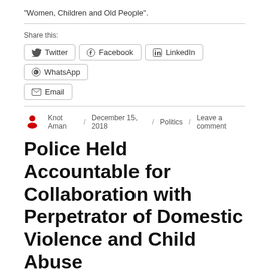“Women, Children and Old People”.
Share this:
[Figure (other): Social share buttons: Twitter, Facebook, LinkedIn, WhatsApp, Email]
Knot Aman / December 15, 2018 / Politics / Leave a comment
Police Held Accountable for Collaboration with Perpetrator of Domestic Violence and Child Abuse
17 November 2018
To:  Officer in Charge – [REDACTED] Police Station,